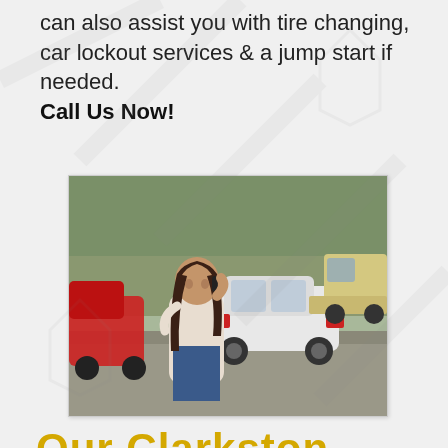can also assist you with tire changing, car lockout services & a jump start if needed. Call Us Now!
[Figure (photo): Woman standing on roadside talking on phone, with a white car being loaded onto a tow truck in the background. Trees visible in background.]
Our Clarkston